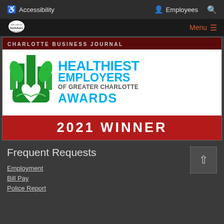Accessibility   Employees
[Figure (logo): City of Salisbury logo with Menu button]
[Figure (illustration): Charlotte Business Journal Healthiest Employers of Greater Charlotte Awards 2021 Winner banner with green building/heart logo in white and red design]
Frequent Requests
Employment
Bill Pay
Police Report